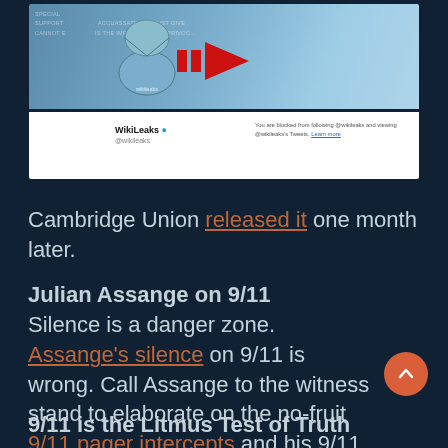[Figure (screenshot): Screenshot of WikiLeaks Twitter profile page showing the WikiLeaks hourglass logo with a red arrow, the handle @wikileaks, and a message 'You are blocked from following @wikileaks and viewing @wikileaks's Tweets. Learn more']
Cambridge Union released it one month later.
Julian Assange on 9/11
Silence is a danger zone.  Assange's silence on 9/11 is wrong. Call Assange to the witness stand to elaborate on the no-fruit 9/11 pager intercepts and his 9/11 position.
9/11 is the Litmus Test of Truth